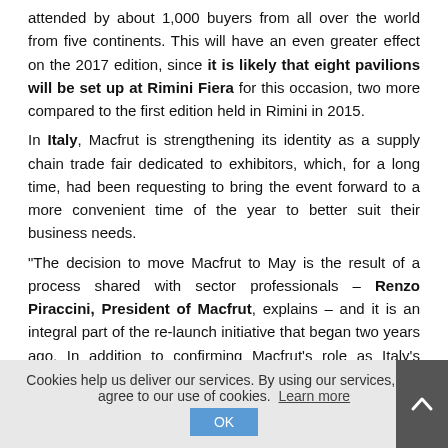attended by about 1,000 buyers from all over the world from five continents. This will have an even greater effect on the 2017 edition, since it is likely that eight pavilions will be set up at Rimini Fiera for this occasion, two more compared to the first edition held in Rimini in 2015.
In Italy, Macfrut is strengthening its identity as a supply chain trade fair dedicated to exhibitors, which, for a long time, had been requesting to bring the event forward to a more convenient time of the year to better suit their business needs.
"The decision to move Macfrut to May is the result of a process shared with sector professionals – Renzo Piraccini, President of Macfrut, explains – and it is an integral part of the re-launch initiative that began two years ago. In addition to confirming Macfrut's role as Italy's leading showcase for the fruit and vegetable sector, this also shows that we are carrying on in the direction of a supply chain trade fair, a distinctive feature that the industry has attributed to us at international level. After all, May is the month in which Macfrut was held originally, until it was moved to September in 2008."
At the same time, the situation was fare of the 2016 edition...
Cookies help us deliver our services. By using our services, you agree to our use of cookies. Learn more  OK